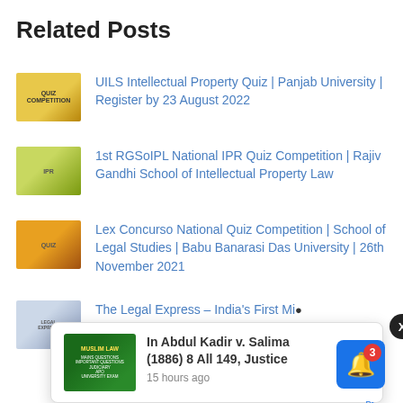Related Posts
UILS Intellectual Property Quiz | Panjab University | Register by 23 August 2022
1st RGSoIPL National IPR Quiz Competition | Rajiv Gandhi School of Intellectual Property Law
Lex Concurso National Quiz Competition | School of Legal Studies | Babu Banarasi Das University | 26th November 2021
The Legal Express – India's First Mi...
[Figure (screenshot): Popup notification card showing Muslim Law book thumbnail, title 'In Abdul Kadir v. Salima (1886) 8 All 149, Justice' and timestamp '15 hours ago']